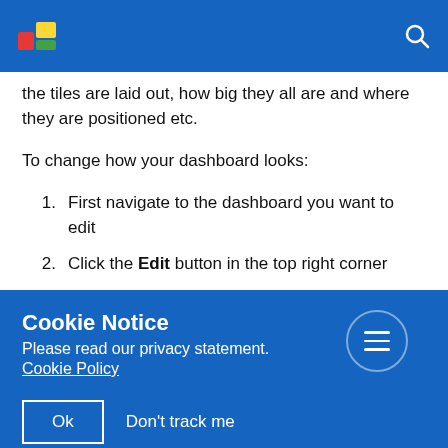[Figure (screenshot): Blue top navigation bar with a colorful logo icon on the left and a search icon on the right]
the tiles are laid out, how big they all are and where they are positioned etc.
To change how your dashboard looks:
1. First navigate to the dashboard you want to edit
2. Click the Edit button in the top right corner
Cookie Notice
Please read our privacy statement.
Cookie Policy
Ok   Don't track me